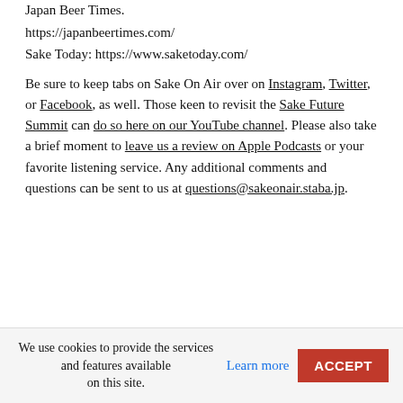Japan Beer Times.
https://japanbeertimes.com/
Sake Today: https://www.saketoday.com/
Be sure to keep tabs on Sake On Air over on Instagram, Twitter, or Facebook, as well. Those keen to revisit the Sake Future Summit can do so here on our YouTube channel. Please also take a brief moment to leave us a review on Apple Podcasts or your favorite listening service. Any additional comments and questions can be sent to us at questions@sakeonair.staba.jp.
We use cookies to provide the services and features available on this site. Learn more ACCEPT